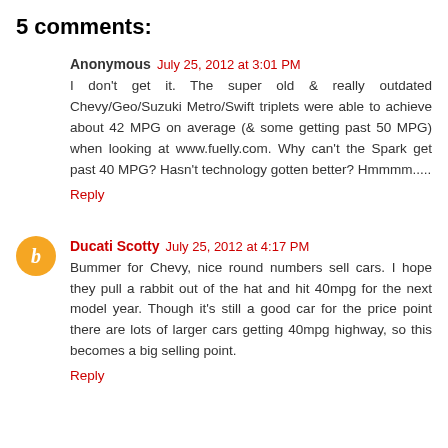5 comments:
Anonymous July 25, 2012 at 3:01 PM
I don't get it. The super old & really outdated Chevy/Geo/Suzuki Metro/Swift triplets were able to achieve about 42 MPG on average (& some getting past 50 MPG) when looking at www.fuelly.com. Why can't the Spark get past 40 MPG? Hasn't technology gotten better? Hmmmm.....
Reply
Ducati Scotty July 25, 2012 at 4:17 PM
Bummer for Chevy, nice round numbers sell cars. I hope they pull a rabbit out of the hat and hit 40mpg for the next model year. Though it's still a good car for the price point there are lots of larger cars getting 40mpg highway, so this becomes a big selling point.
Reply